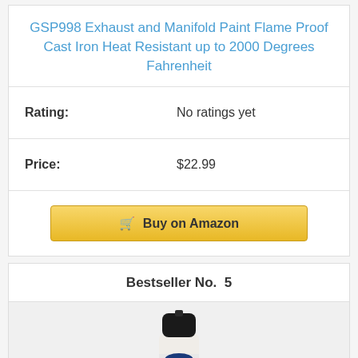GSP998 Exhaust and Manifold Paint Flame Proof Cast Iron Heat Resistant up to 2000 Degrees Fahrenheit
| Rating: | No ratings yet |
| Price: | $22.99 |
[Figure (screenshot): Buy on Amazon button with shopping cart icon]
Bestseller No.  5
[Figure (photo): Eastwood High Temp Coating Factory Gray spray can product photo]